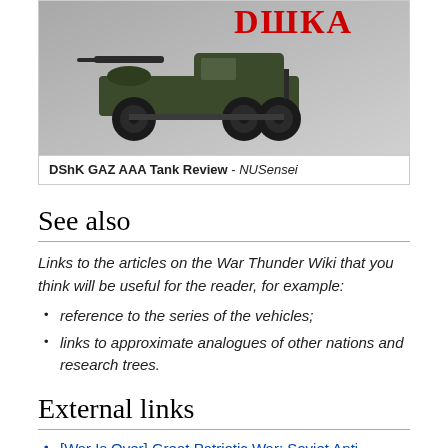[Figure (photo): Photo of a DShK GAZ AAA military truck/vehicle with wheels and gun mount, on grey background]
DShK GAZ AAA Tank Review - NUSensei
See also
Links to the articles on the War Thunder Wiki that you think will be useful for the reader, for example:
reference to the series of the vehicles;
links to approximate analogues of other nations and research trees.
External links
[War Is Over] Great Patriotic War: Soviet Anti-